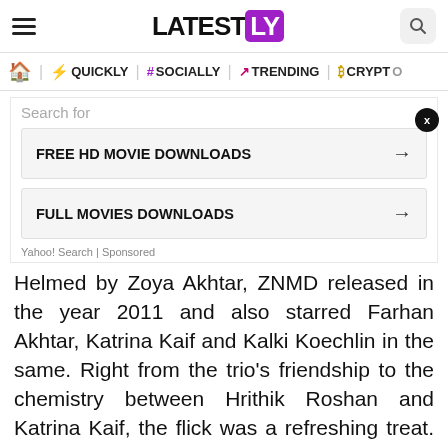LATEST LY
QUICKLY | # SOCIALLY | TRENDING | CRYPTO
[Figure (screenshot): Search dropdown ad showing 'FREE HD MOVIE DOWNLOADS' and 'FULL MOVIES DOWNLOADS' with Yahoo! Search | Sponsored label]
Helmed by Zoya Akhtar, ZNMD released in the year 2011 and also starred Farhan Akhtar, Katrina Kaif and Kalki Koechlin in the same. Right from the trio's friendship to the chemistry between Hrithik Roshan and Katrina Kaif, the flick was a refreshing treat. However, looks like Abhay Deol is upset as his latest post highlighting the biasedness of award shows is a must-read. Abhay Deol Birthday Special: 5 Facts About This Dishy Actor You Are Not Aware Of